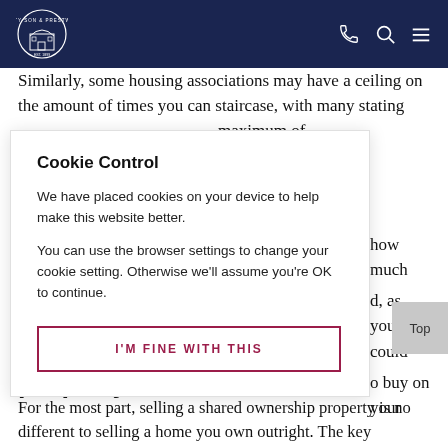Petty Son & Prestwich — navigation header with logo, phone, search, and menu icons
Similarly, some housing associations may have a ceiling on the amount of times you can staircase, with many stating [obscured by modal] maximum of [obscured] how much [obscured], as you could [obscured] buy on your
Cookie Control
We have placed cookies on your device to help make this website better.

You can use the browser settings to change your cookie setting. Otherwise we'll assume you're OK to continue.
I'M FINE WITH THIS
...ell my shared ownership property?
For the most part, selling a shared ownership property is no different to selling a home you own outright. The key